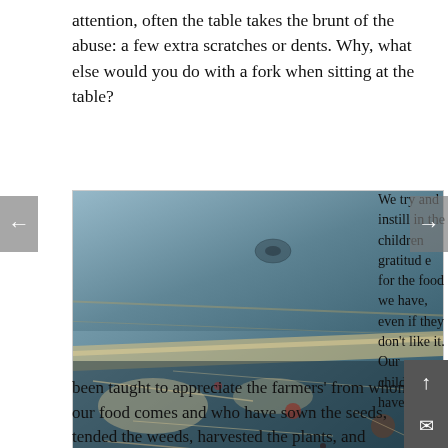attention, often the table takes the brunt of the abuse: a few extra scratches or dents. Why, what else would you do with a fork when sitting at the table?
[Figure (photo): Close-up photograph of a worn wooden table surface showing scratches, dents, and fork marks. The wood has a blue-grey painted finish that is chipped and worn away in places, revealing lighter wood beneath.]
Fork marks!
We try and instill in the children gratitude for the food we have, even if they don't like it. Our children have been taught to appreciate the farmers' from whom our food comes and who have sown the seeds, tended the weeds, harvested the plants, and transported them to us